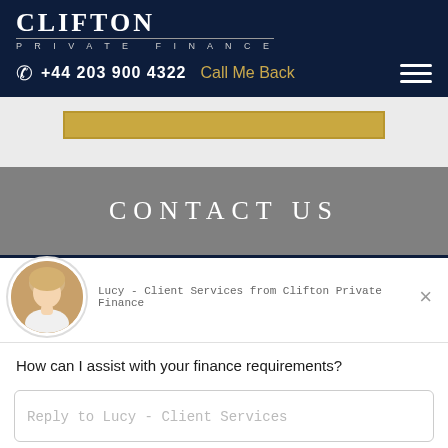CLIFTON PRIVATE FINANCE
+44 203 900 4322  Call Me Back
[Figure (screenshot): Gold call-to-action button outline]
CONTACT US
[Figure (photo): Circular avatar photo of Lucy, Client Services representative from Clifton Private Finance]
Lucy - Client Services from Clifton Private Finance
How can I assist with your finance requirements?
Reply to Lucy - Client Services
Chat ⚡ by Drift